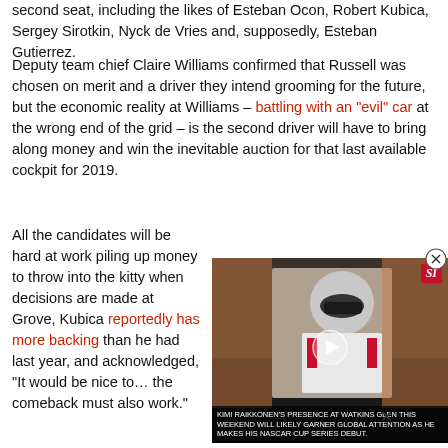second seat, including the likes of Esteban Ocon, Robert Kubica, Sergey Sirotkin, Nyck de Vries and, supposedly, Esteban Gutierrez.
Deputy team chief Claire Williams confirmed that Russell was chosen on merit and a driver they intend grooming for the future, but the economic reality at Williams – battling with an “evil” car at the wrong end of the grid – is the second driver will have to bring along money and win the inevitable auction for that last available cockpit for 2019.
All the candidates will be hard at work piling up money to throw into the kitty when decisions are made at Grove, Kubica reportedly has more backing than he had last year, and acknowledged, “It would be nice to…the comeback must also work.”
[Figure (screenshot): Embedded video player showing a racing driver (Kimi Raikkonen) at a motorsport event, with an SI (Sports Illustrated) badge and caption about Kimi Raikkonen's presence at Watkins Glen for his NASCAR Cup Series debut.]